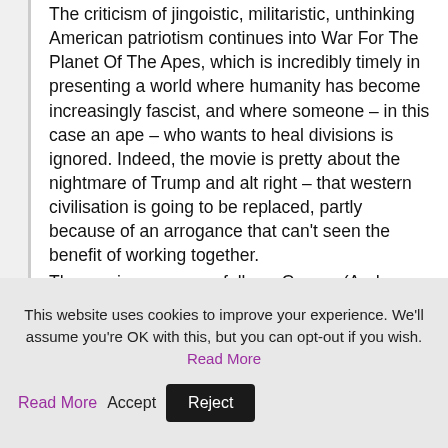The criticism of jingoistic, militaristic, unthinking American patriotism continues into War For The Planet Of The Apes, which is incredibly timely in presenting a world where humanity has become increasingly fascist, and where someone – in this case an ape – who wants to heal divisions is ignored. Indeed, the movie is pretty about the nightmare of Trump and alt right – that western civilisation is going to be replaced, partly because of an arrogance that can't seen the benefit of working together.

The movie once more follows Caesar (Andy Serkis), who's now at full-scale war with what's left of the US
This website uses cookies to improve your experience. We'll assume you're OK with this, but you can opt-out if you wish. Read More Accept Reject